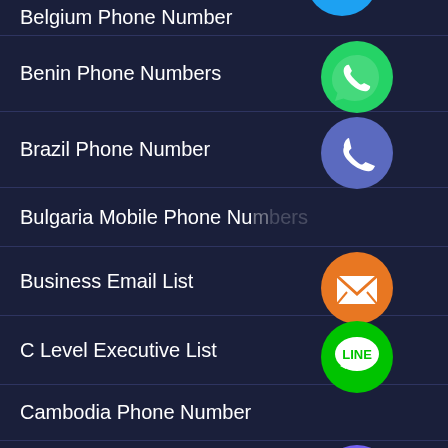Belgium Phone Number
Benin Phone Numbers
Brazil Phone Number
Bulgaria Mobile Phone Numbers
Business Email List
C Level Executive List
Cambodia Phone Number
Canada Mobile Number
Chile Phone Numbers
China Phone Number